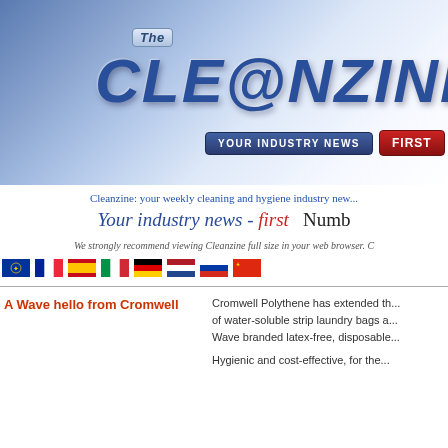[Figure (logo): The Cleanzine logo banner with blue gradient background, 'The' badge, large italic CLE@NZINE text, 'YOUR INDUSTRY NEWS' dark blue bar and 'FIRST' red badge]
Cleanzine: your weekly cleaning and hygiene industry new...
Your industry news - first   Numb...
We strongly recommend viewing Cleanzine full size in your web browser. C...
[Figure (illustration): Row of 8 country flag icons: EU/world, France, Spain, Italy, Germany, Netherlands, Russia, China]
A Wave hello from Cromwell
Cromwell Polythene has extended th... of water-soluble strip laundry bags a... Wave branded latex-free, disposable...
Hygienic and cost-effective, for the...